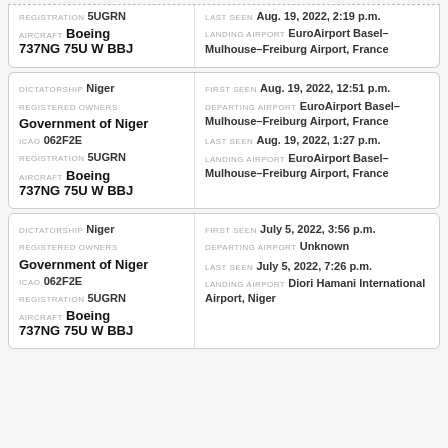| Field | Value |
| --- | --- |
| REGISTRATION | 5UGRN |
| AIRCRAFT | Boeing 737NG 75U W BBJ |
| LAST SEEN | Aug. 19, 2022, 2:19 p.m. |
| LANDING AIRPORT | EuroAirport Basel-Mulhouse-Freiburg Airport, France |
| Field | Value |
| --- | --- |
| DICTATORSHIP | Niger |
| REGISTERED OWNERS | Government of Niger |
| ICAO | 062F2E |
| REGISTRATION | 5UGRN |
| AIRCRAFT | Boeing 737NG 75U W BBJ |
| FIRST SEEN | Aug. 19, 2022, 12:51 p.m. |
| DEPARTING AIRPORT | EuroAirport Basel-Mulhouse-Freiburg Airport, France |
| LAST SEEN | Aug. 19, 2022, 1:27 p.m. |
| LANDING AIRPORT | EuroAirport Basel-Mulhouse-Freiburg Airport, France |
| Field | Value |
| --- | --- |
| DICTATORSHIP | Niger |
| REGISTERED OWNERS | Government of Niger |
| ICAO | 062F2E |
| REGISTRATION | 5UGRN |
| AIRCRAFT | Boeing 737NG 75U W BBJ |
| FIRST SEEN | July 5, 2022, 3:56 p.m. |
| DEPARTING AIRPORT | Unknown |
| LAST SEEN | July 5, 2022, 7:26 p.m. |
| LANDING AIRPORT | Diori Hamani International Airport, Niger |